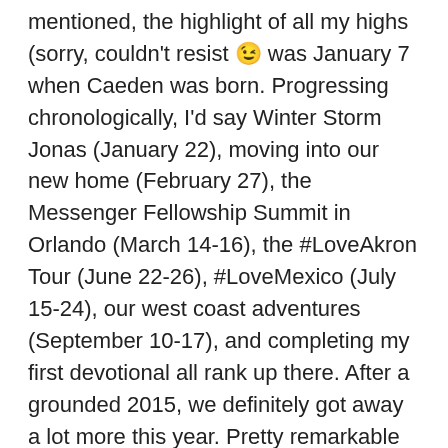mentioned, the highlight of all my highs (sorry, couldn't resist 😉 was January 7 when Caeden was born. Progressing chronologically, I'd say Winter Storm Jonas (January 22), moving into our new home (February 27), the Messenger Fellowship Summit in Orlando (March 14-16), the #LoveAkron Tour (June 22-26), #LoveMexico (July 15-24), our west coast adventures (September 10-17), and completing my first devotional all rank up there. After a grounded 2015, we definitely got away a lot more this year. Pretty remarkable considering we became new parents only a week into the new year…
LF: Not to sound like a broken record, but our son being born…and finding out I'm stronger than I once thought through the labor process. I feel like I definitely reached the end of myself in August and the Lord was very faithful to give me greater strength to keep going. I feel like